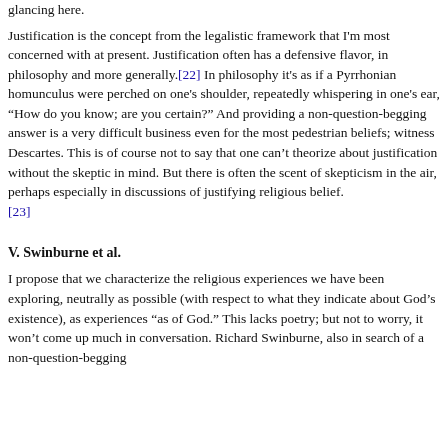glancing here.
Justification is the concept from the legalistic framework that I'm most concerned with at present. Justification often has a defensive flavor, in philosophy and more generally.[22] In philosophy it's as if a Pyrrhonian homunculus were perched on one's shoulder, repeatedly whispering in one's ear, "How do you know; are you certain?" And providing a non-question-begging answer is a very difficult business even for the most pedestrian beliefs; witness Descartes. This is of course not to say that one can't theorize about justification without the skeptic in mind. But there is often the scent of skepticism in the air, perhaps especially in discussions of justifying religious belief. [23]
V. Swinburne et al.
I propose that we characterize the religious experiences we have been exploring, neutrally as possible (with respect to what they indicate about God's existence), as experiences "as of God." This lacks poetry; but not to worry, it won't come up much in conversation. Richard Swinburne, also in search of a non-question-begging